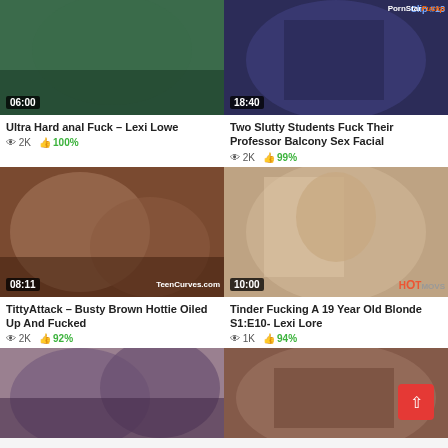[Figure (screenshot): Video thumbnail top-left, duration 06:00]
Ultra Hard anal Fuck – Lexi Lowe
👁 2K  👍 100%
[Figure (screenshot): Video thumbnail top-right, duration 18:40, PornStar watermark]
Two Slutty Students Fuck Their Professor Balcony Sex Facial
👁 2K  👍 99%
[Figure (screenshot): Video thumbnail mid-left, duration 08:11, TeenCurves.com watermark]
TittyAttack – Busty Brown Hottie Oiled Up And Fucked
👁 2K  👍 92%
[Figure (screenshot): Video thumbnail mid-right, duration 10:00, HotMovs watermark]
Tinder Fucking A 19 Year Old Blonde S1:E10- Lexi Lore
👁 1K  👍 94%
[Figure (screenshot): Video thumbnail bottom-left, partial]
[Figure (screenshot): Video thumbnail bottom-right, partial]